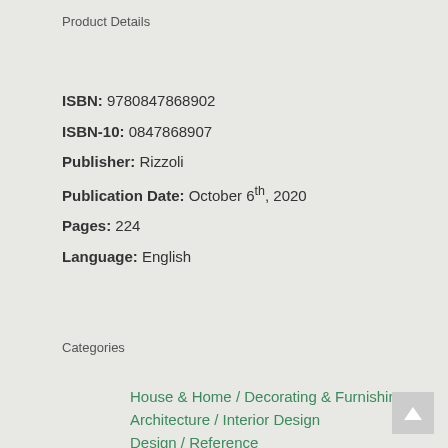Product Details
ISBN: 9780847868902
ISBN-10: 0847868907
Publisher: Rizzoli
Publication Date: October 6th, 2020
Pages: 224
Language: English
Categories
House & Home / Decorating & Furnishings
Architecture / Interior Design
Design / Reference